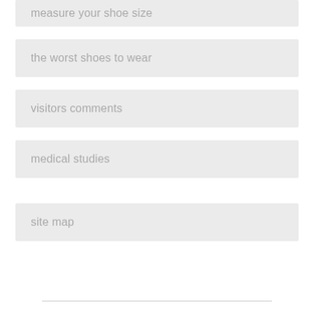measure your shoe size
the worst shoes to wear
visitors comments
medical studies
site map